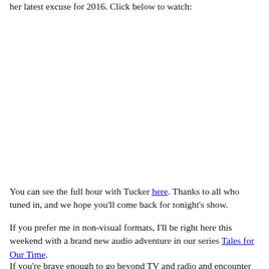her latest excuse for 2016. Click below to watch:
You can see the full hour with Tucker here. Thanks to all who tuned in, and we hope you'll come back for tonight's show.
If you prefer me in non-visual formats, I'll be right here this weekend with a brand new audio adventure in our series Tales for Our Time.
If you're brave enough to go beyond TV and radio and encounter